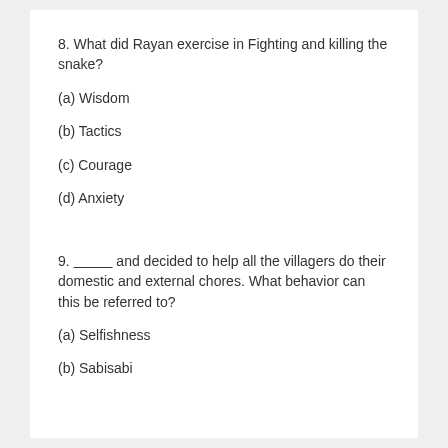8. What did Rayan exercise in Fighting and killing the snake?
(a) Wisdom
(b) Tactics
(c) Courage
(d) Anxiety
9. __________ and decided to help all the villagers do their domestic and external chores. What behavior can this be referred to?
(a) Selfishness
(b) Sabisabi